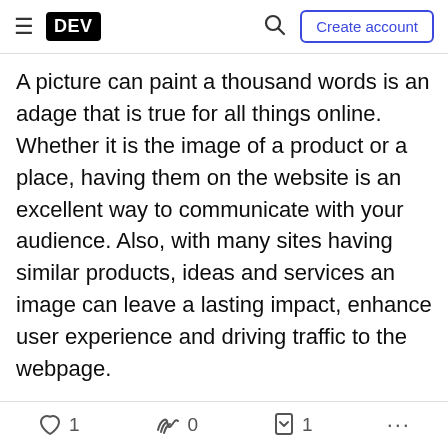DEV — Create account
A picture can paint a thousand words is an adage that is true for all things online. Whether it is the image of a product or a place, having them on the website is an excellent way to communicate with your audience. Also, with many sites having similar products, ideas and services an image can leave a lasting impact, enhance user experience and driving traffic to the webpage.
To stay ahead of the competition, companies need to understand not just the value of visuals, but also how and why it should be optimized. Optimized images can be a great differentiator between the haves and
1  0  1  ...